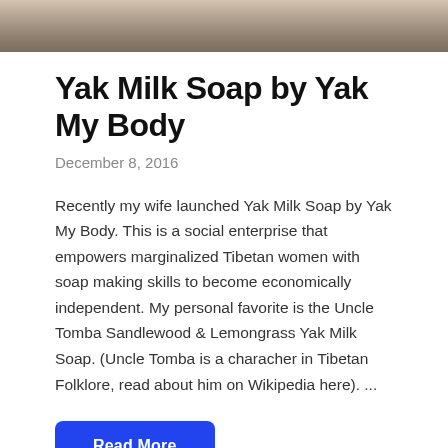[Figure (photo): Cropped photo of soap bars on a wooden surface, partially visible at top of page]
Yak Milk Soap by Yak My Body
December 8, 2016
Recently my wife launched Yak Milk Soap by Yak My Body. This is a social enterprise that empowers marginalized Tibetan women with soap making skills to become economically independent. My personal favorite is the Uncle Tomba Sandlewood & Lemongrass Yak Milk Soap. (Uncle Tomba is a characher in Tibetan Folklore, read about him on Wikipedia here).  ...
Read More
ALL ONE